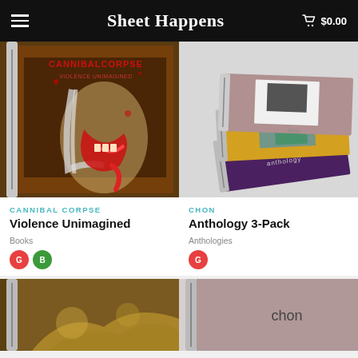Sheet Happens  $0.00
[Figure (photo): Spiral-bound book with Cannibal Corpse Violence Unimagined artwork — horror illustration of a woman with a mutated jaw]
CANNIBAL CORPSE
Violence Unimagined
Books
[Figure (photo): Stack of three spiral-bound CHON anthology sheet music books fanned out]
CHON
Anthology 3-Pack
Anthologies
[Figure (photo): Partial bottom product image — spiral-bound book with dark yellow/gold artwork]
[Figure (photo): Partial bottom product image — spiral-bound book with mauve/purple cover showing 'chon' text]